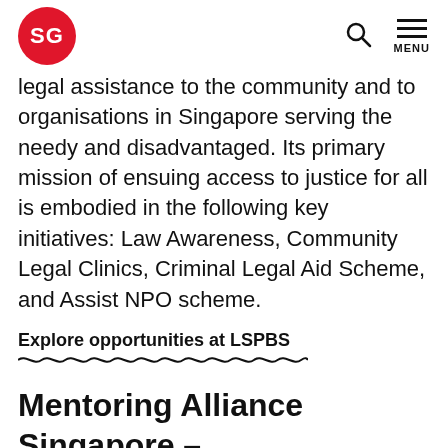SG | search | MENU
legal assistance to the community and to organisations in Singapore serving the needy and disadvantaged. Its primary mission of ensuing access to justice for all is embodied in the following key initiatives: Law Awareness, Community Legal Clinics, Criminal Legal Aid Scheme, and Assist NPO scheme.
Explore opportunities at LSPBS
Mentoring Alliance Singapore – every youth empowered through